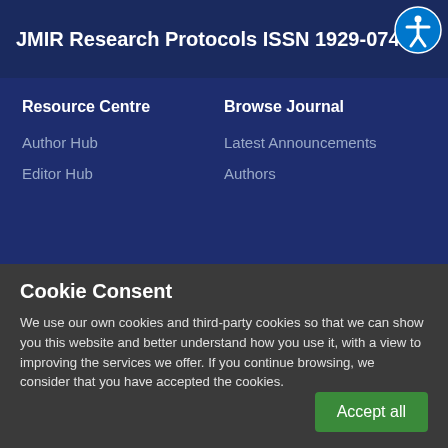JMIR Research Protocols ISSN 1929-0748
Resource Centre
Browse Journal
Author Hub
Latest Announcements
Editor Hub
Authors
Cookie Consent
We use our own cookies and third-party cookies so that we can show you this website and better understand how you use it, with a view to improving the services we offer. If you continue browsing, we consider that you have accepted the cookies.